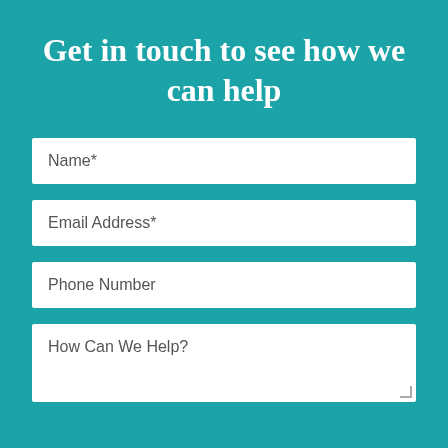Get in touch to see how we can help
Name*
Email Address*
Phone Number
How Can We Help?